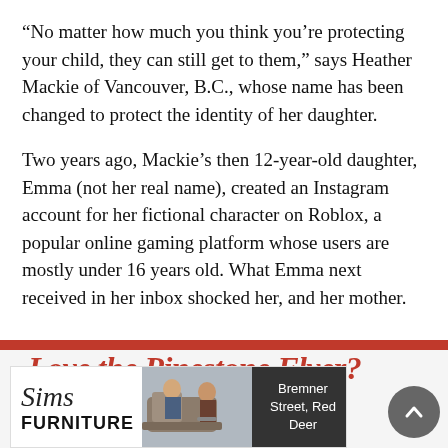“No matter how much you think you’re protecting your child, they can still get to them,” says Heather Mackie of Vancouver, B.C., whose name has been changed to protect the identity of her daughter.
Two years ago, Mackie’s then 12-year-old daughter, Emma (not her real name), created an Instagram account for her fictional character on Roblox, a popular online gaming platform whose users are mostly under 16 years old. What Emma next received in her inbox shocked her, and her mother.
[Figure (other): Advertisement banner for Sims Furniture with red top bar, italic logo text, photo of two people on a sofa, and address text 'Bremner Street, Red Deer'. Partially visible text 'Love the Pinestone Flyer?' in red italic above the ad.]